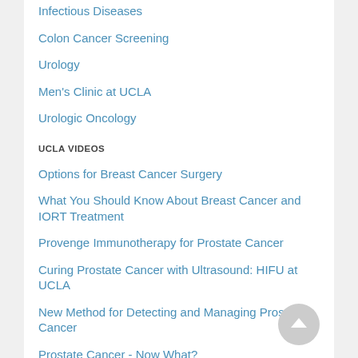Infectious Diseases
Colon Cancer Screening
Urology
Men's Clinic at UCLA
Urologic Oncology
UCLA VIDEOS
Options for Breast Cancer Surgery
What You Should Know About Breast Cancer and IORT Treatment
Provenge Immunotherapy for Prostate Cancer
Curing Prostate Cancer with Ultrasound: HIFU at UCLA
New Method for Detecting and Managing Prostate Cancer
Prostate Cancer - Now What?
Prostate Cancer 101